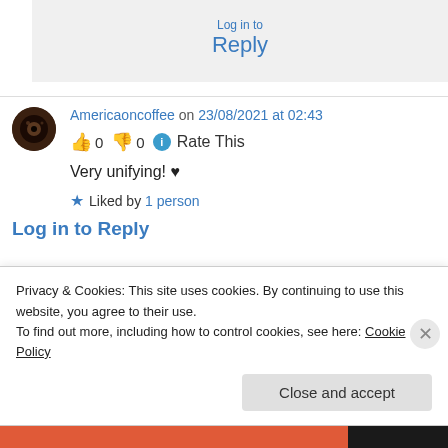Reply
Americaoncoffee on 23/08/2021 at 02:43
👍 0 👎 0 ℹ Rate This
Very unifying! ♥
★ Liked by 1 person
Log in to Reply
Privacy & Cookies: This site uses cookies. By continuing to use this website, you agree to their use.
To find out more, including how to control cookies, see here: Cookie Policy
Close and accept